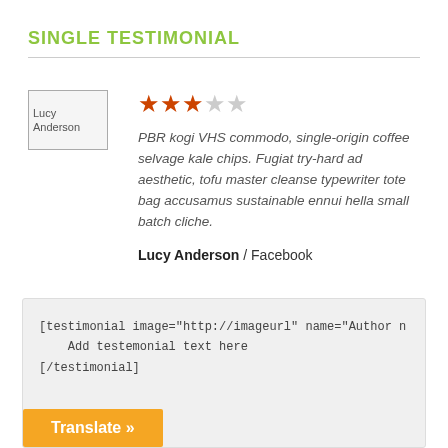SINGLE TESTIMONIAL
[Figure (illustration): Avatar placeholder image labeled 'Lucy Anderson']
★★★☆☆ (3 out of 5 stars rating)
PBR kogi VHS commodo, single-origin coffee selvage kale chips. Fugiat try-hard ad aesthetic, tofu master cleanse typewriter tote bag accusamus sustainable ennui hella small batch cliche.
Lucy Anderson / Facebook
[testimonial image="http://imageurl" name="Author n
    Add testemonial text here
[/testimonial]